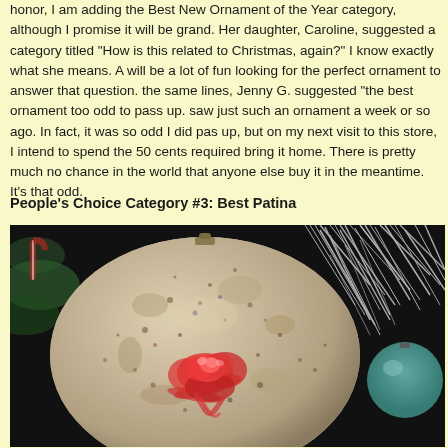honor, I am adding the Best New Ornament of the Year category, although I promise it will be grand. Her daughter, Caroline, suggested a category titled "How is this related to Christmas, again?" I know exactly what she means. A will be a lot of fun looking for the perfect ornament to answer that question. the same lines, Jenny G. suggested "the best ornament too odd to pass up. saw just such an ornament a week or so ago. In fact, it was so odd I did pas up, but on my next visit to this store, I intend to spend the 50 cents required bring it home. There is pretty much no chance in the world that anyone else buy it in the meantime. It's that odd.
People's Choice Category #3: Best Patina
[Figure (photo): A large weathered Christmas ornament ball with aged, patina-covered surface showing a painted red rose design in the center. The ornament has a cream/beige base with speckles and wear marks. Behind it are silver tinsel and other ornaments including a teal/green ball, set against a dark background suggesting a Christmas tree.]